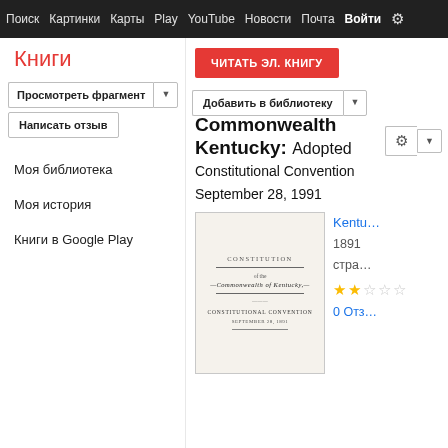Поиск  Картинки  Карты  Play  YouTube  Новости  Почта  Войти  ⚙
Книги
Просмотреть фрагмент ▼   Добавить в библиотеку ▼
Написать отзыв
ЧИТАТЬ ЭЛ. КНИГУ
Моя библиотека
Моя история
Книги в Google Play
Constitution of the Commonwealth of Kentucky: Adopted by the Constitutional Convention September 28, 1991
[Figure (photo): Book cover of Constitution of the Commonwealth of Kentucky showing the title page with horizontal rules, text in serif font: CONSTITUTION OF THE COMMONWEALTH OF KENTUCKY, CONSTITUTIONAL CONVENTION, SEPTEMBER 28, 1891]
Kentu... 1891 стра... ★★ 0 Отз...